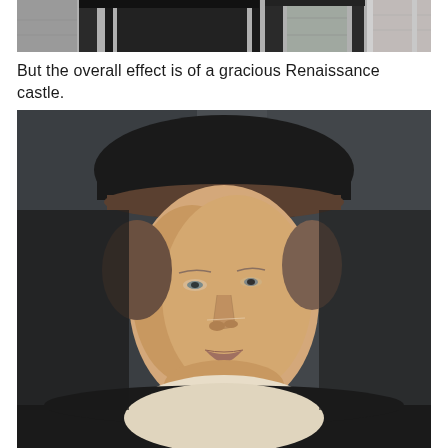[Figure (photo): Top portion of a Renaissance castle exterior showing architectural columns and arched stonework in black and white tones]
But the overall effect is of a gracious Renaissance castle.
[Figure (photo): Renaissance-era portrait painting of a noble woman wearing a black dress with white ruffled collar and a black hat, painted in a classical style with muted tones]